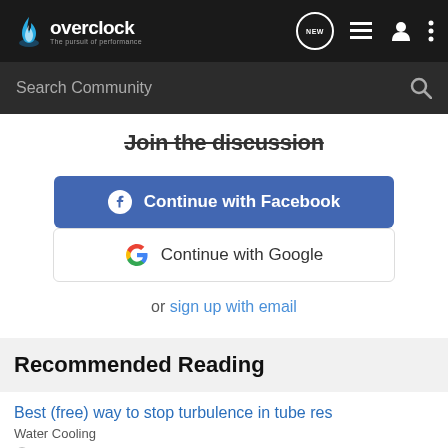overclock — The pursuit of performance
Search Community
Join the discussion
[Figure (screenshot): Continue with Facebook button — blue rounded rectangle with Facebook 'f' icon]
[Figure (screenshot): Continue with Google button — white rounded rectangle with Google 'G' icon]
or sign up with email
Recommended Reading
Best (free) way to stop turbulence in tube res
Water Cooling